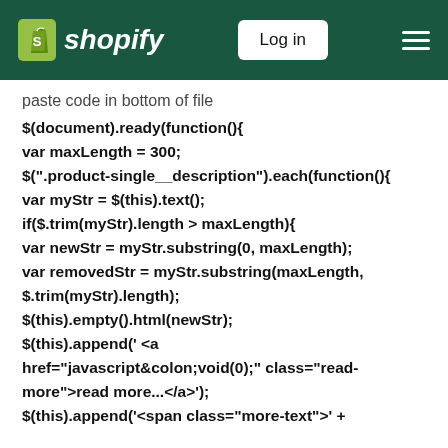shopify | Log in
paste code in bottom of file
$(document).ready(function(){
var maxLength = 300;
$(".product-single__description").each(function(){
var myStr = $(this).text();
if($.trim(myStr).length > maxLength){
var newStr = myStr.substring(0, maxLength);
var removedStr = myStr.substring(maxLength, $.trim(myStr).length);
$(this).empty().html(newStr);
$(this).append(' <a href="javascript&colon;void(0);" class="read-more">read more...</a>');
$(this).append('<span class="more-text">' +